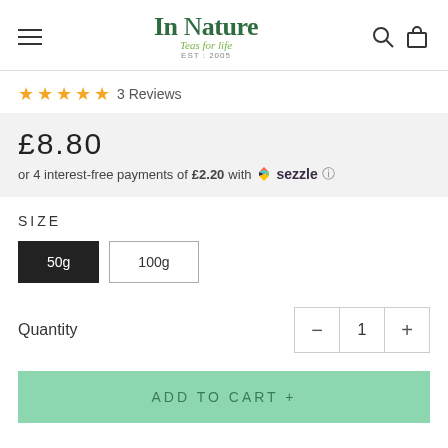In Nature Teas for life EST: 2005
★★★★★ 3 Reviews
£8.80
or 4 interest-free payments of £2.20 with Sezzle ℹ
SIZE
50g | 100g
Quantity  −  1  +
ADD TO CART +